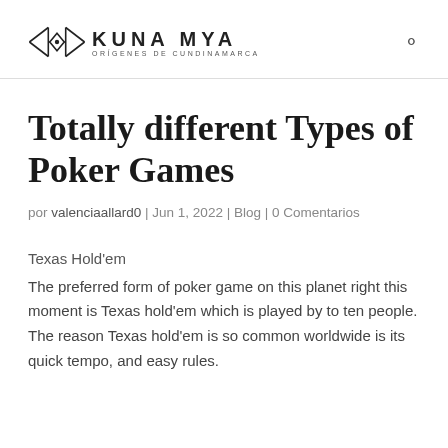KUNA MYA ORÍGENES DE CUNDINAMARCA
Totally different Types of Poker Games
por valenciaallard0 | Jun 1, 2022 | Blog | 0 Comentarios
Texas Hold'em
The preferred form of poker game on this planet right this moment is Texas hold'em which is played by to ten people. The reason Texas hold'em is so common worldwide is its quick tempo, and easy rules.